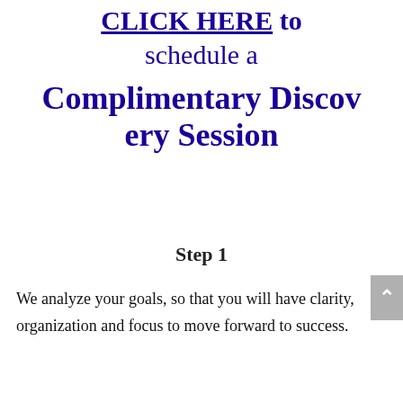CLICK HERE to schedule a Complimentary Discovery Session
Step 1
We analyze your goals, so that you will have clarity, organization and focus to move forward to success.